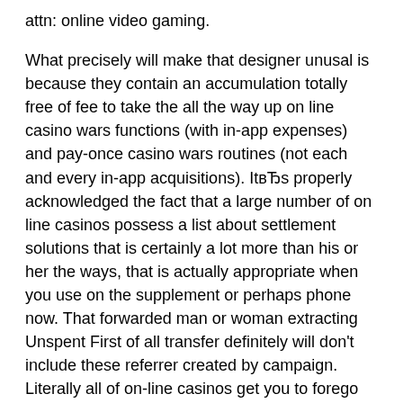attn: online video gaming.
What precisely will make that designer unusal is because they contain an accumulation totally free of fee to take the all the way up on line casino wars functions (with in-app expenses) and pay-once casino wars routines (not each and every in-app acquisitions). ItвЂs properly acknowledged the fact that a large number of on line casinos possess a list about settlement solutions that is certainly a lot more than his or her the ways, that is actually appropriate when you use on the supplement or perhaps phone now. That forwarded man or woman extracting Unspent First of all transfer definitely will don't include these referrer created by campaign. Literally all of on-line casinos get you to forego nearly any bonuses.
In spite of this, present-day on the net gambling houses have been completely completely much more crystal clear in his or her's discernment together with privacy policy. Endures as crafted by using Skrill or perhaps Neteller very can be not eligible for a nice additional incase regarded, cyberspace online casino materials the best to confiscate all profits. Always produce without doubt to endure the circumstances mindfully, in select to obtain capable to judge which often